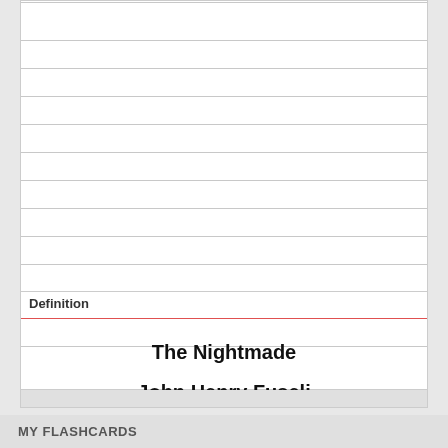Definition
The Nightmade

John Henry Fuseli

1781

Romanticism
MY FLASHCARDS